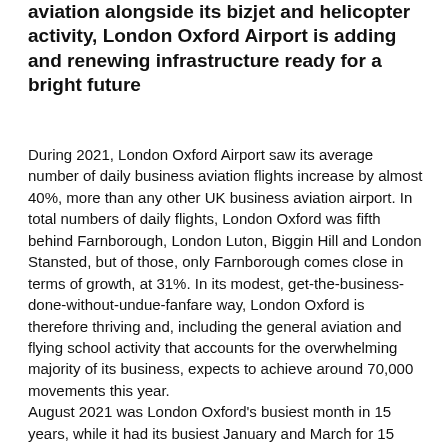aviation alongside its bizjet and helicopter activity, London Oxford Airport is adding and renewing infrastructure ready for a bright future
During 2021, London Oxford Airport saw its average number of daily business aviation flights increase by almost 40%, more than any other UK business aviation airport. In total numbers of daily flights, London Oxford was fifth behind Farnborough, London Luton, Biggin Hill and London Stansted, but of those, only Farnborough comes close in terms of growth, at 31%. In its modest, get-the-business-done-without-undue-fanfare way, London Oxford is therefore thriving and, including the general aviation and flying school activity that accounts for the overwhelming majority of its business, expects to achieve around 70,000 movements this year.
August 2021 was London Oxford's busiest month in 15 years, while it had its busiest January and March for 15 years in 2022 (February was denied its fair share of activity by a run of